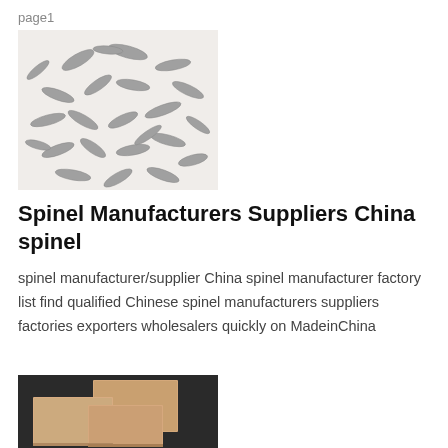page1
[Figure (photo): Photo of spinel mineral crystals — multiple elongated grey/silver crystal pieces scattered on a white background]
Spinel Manufacturers Suppliers China spinel
spinel manufacturer/supplier China spinel manufacturer factory list find qualified Chinese spinel manufacturers suppliers factories exporters wholesalers quickly on MadeinChina
[Figure (photo): Photo of spinel ceramic/refractory brick tiles — three pale tan/beige square tiles arranged on a dark background]